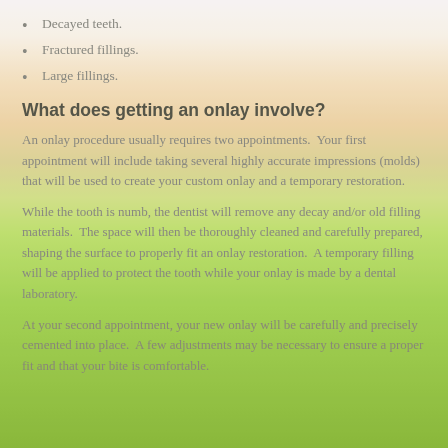Decayed teeth.
Fractured fillings.
Large fillings.
What does getting an onlay involve?
An onlay procedure usually requires two appointments.  Your first appointment will include taking several highly accurate impressions (molds) that will be used to create your custom onlay and a temporary restoration.
While the tooth is numb, the dentist will remove any decay and/or old filling materials.  The space will then be thoroughly cleaned and carefully prepared, shaping the surface to properly fit an onlay restoration.  A temporary filling will be applied to protect the tooth while your onlay is made by a dental laboratory.
At your second appointment, your new onlay will be carefully and precisely cemented into place.  A few adjustments may be necessary to ensure a proper fit and that your bite is comfortable.